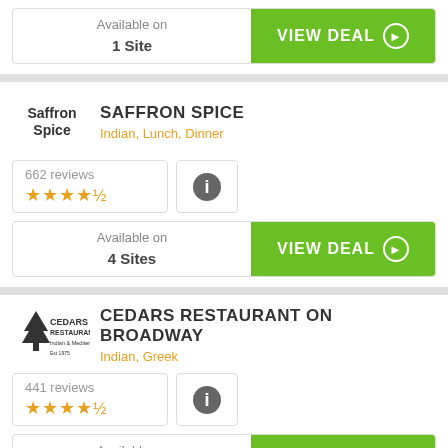Available on 1 Site
VIEW DEAL
SAFFRON SPICE
Indian, Lunch, Dinner
662 reviews ★★★★½
Available on 4 Sites
VIEW DEAL
CEDARS RESTAURANT ON BROADWAY
Indian, Greek
441 reviews ★★★★½
Available on 1 Site
VIEW DEAL